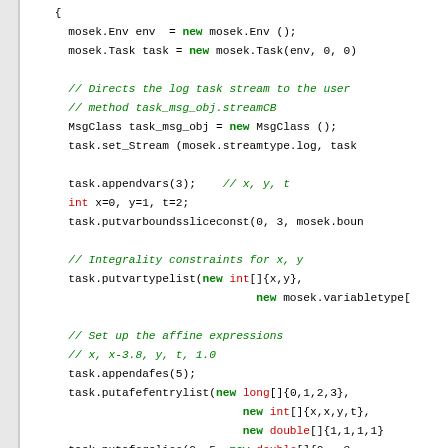[Figure (screenshot): Code listing showing Java code using MOSEK API: environment/task creation, stream setup, variable appending, bounds, integrality constraints, affine expressions, and constraint appending.]